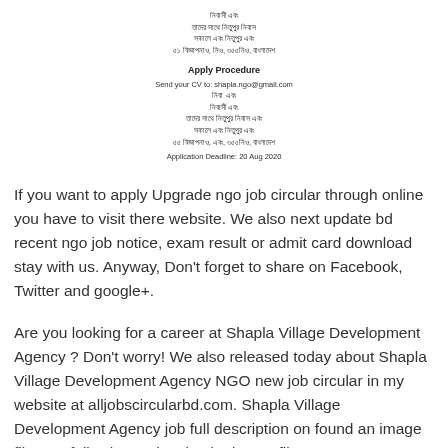নিবাসী এবং
তাদের সাথে নিতুপুর নিবাস
সকালে এবং নিতুপুর এবং
৫১ বিজ্ঞাপনাও, নিও, ৩৫৫নিও, বাংলাদেশ
Apply Procedure
Send your CV to: shapla.ngo@gmail.com
নিবা এবং
নিবাসী এবং
তাদের সাথে নিতুপুর নিবাস এবং
সকালে এবং নিতুপুর এবং
৫৫ বিজ্ঞাপনাও, এবং, ৩৫৫নিও, বাংলাদেশ
Application Deadline: 20 Aug 2020
If you want to apply Upgrade ngo job circular through online you have to visit there website. We also next update bd recent ngo job notice, exam result or admit card download stay with us. Anyway, Don't forget to share on Facebook, Twitter and google+.
Are you looking for a career at Shapla Village Development Agency ? Don't worry! We also released today about Shapla Village Development Agency NGO new job circular in my website at alljobscircularbd.com. Shapla Village Development Agency job full description on found an image file. So, following to the circular image file. But,